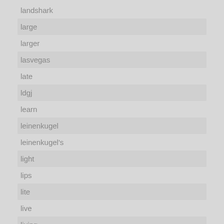landshark
large
larger
lasvegas
late
ldgj
learn
leinenkugel
leinenkugel's
light
lips
lite
live
living
lizard